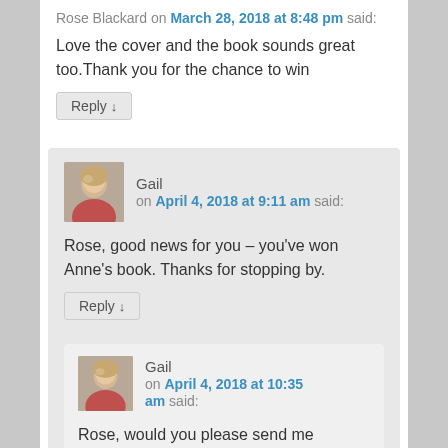Rose Blackard on March 28, 2018 at 8:48 pm said:
Love the cover and the book sounds great too.Thank you for the chance to win
Reply ↓
Gail on April 4, 2018 at 9:11 am said:
Rose, good news for you – you've won Anne's book. Thanks for stopping by.
Reply ↓
Gail on April 4, 2018 at 10:35 am said:
Rose, would you please send me